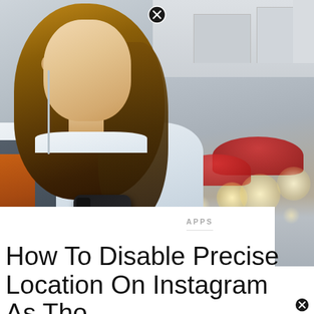[Figure (photo): Young Asian woman looking at her smartphone while standing in a busy street market, carrying a backpack. The background shows blurred market stalls with red umbrellas and bokeh light effects.]
APPS
How To Disable Precise Location On Instagram As Tho...